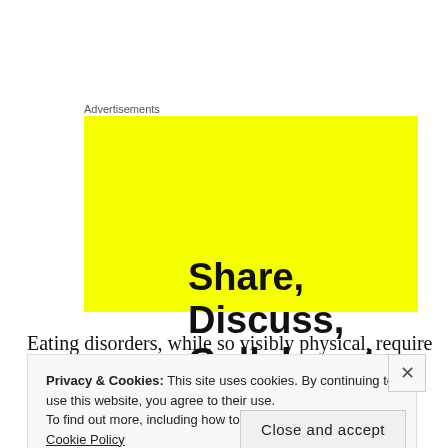Advertisements
[Figure (infographic): Yellow advertisement banner with bold black text reading: Share, Discuss, Collaborate, P2.]
Eating disorders, while so visibly physical, require so
Privacy & Cookies: This site uses cookies. By continuing to use this website, you agree to their use.
To find out more, including how to control cookies, see here: Cookie Policy
Close and accept